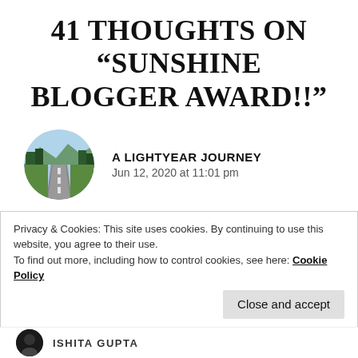41 THOUGHTS ON “SUNSHINE BLOGGER AWARD!!”
A LIGHTYEAR JOURNEY
Jun 12, 2020 at 11:01 pm
Congratulations Ishita!! 😁
Really enjoyed reading your answers💕 💕
★ Liked by 3 people
Privacy & Cookies: This site uses cookies. By continuing to use this website, you agree to their use.
To find out more, including how to control cookies, see here: Cookie Policy
Close and accept
ISHITA GUPTA